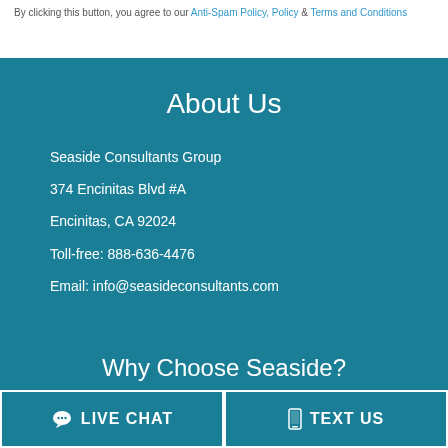By clicking this button, you agree to our Anti-Spam Policy, Policy & Terms and Conditions
About Us
Seaside Consultants Group
374 Encinitas Blvd #A
Encinitas, CA 92024
Toll-free: 888-636-4476
Email: info@seasideconsultants.com
Why Choose Seaside?
LIVE CHAT
TEXT US